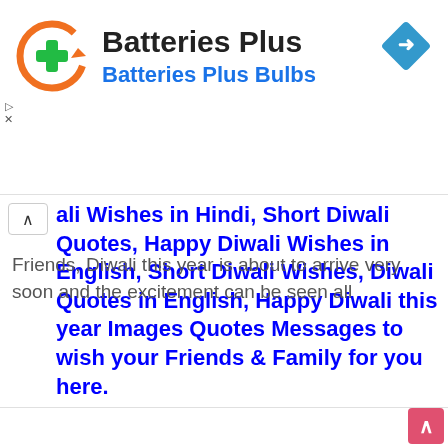[Figure (logo): Batteries Plus logo: orange circular arrow with green plus sign in center]
Batteries Plus
Batteries Plus Bulbs
[Figure (other): Blue diamond navigation icon with right-turn arrow]
ali Wishes in Hindi, Short Diwali Quotes, Happy Diwali Wishes in English, Short Diwali Wishes, Diwali Quotes in English, Happy Diwali this year Images Quotes Messages to wish your Friends & Family for you here.
Friends, Diwali this year is about to arrive very soon and the excitement can be seen all